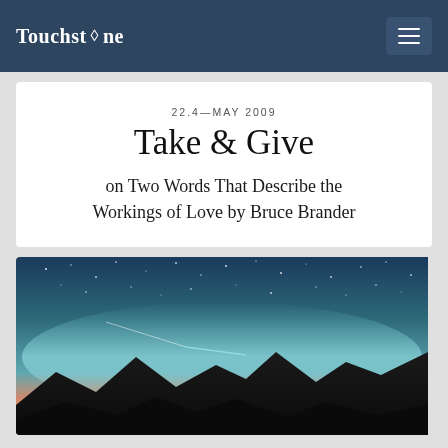Touchstone
22.4—MAY 2009
Take & Give
on Two Words That Describe the Workings of Love by Bruce Brander
[Figure (photo): Night sky photograph showing a starry sky with a teal/blue glow and mountain silhouettes at the bottom, with orange sunset light at the horizon]